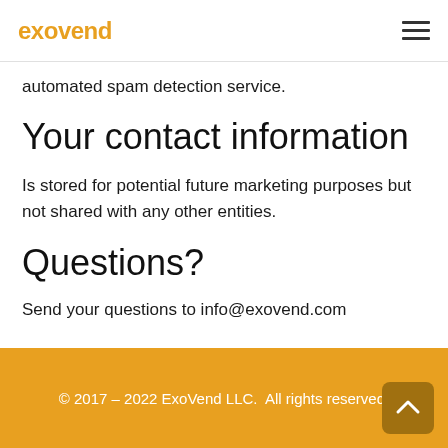exovend
automated spam detection service.
Your contact information
Is stored for potential future marketing purposes but not shared with any other entities.
Questions?
Send your questions to info@exovend.com
© 2017 – 2022 ExoVend LLC.  All rights reserved.